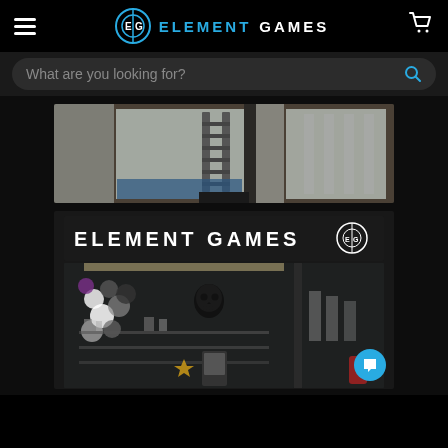Element Games
What are you looking for?
[Figure (photo): Interior of Element Games store under construction with a ladder visible and shelves in the background, viewed through large glass windows.]
[Figure (photo): Exterior storefront of Element Games at night with illuminated sign reading ELEMENT GAMES with the EG logo, decorated with balloons and a skull decoration, shelves of products visible inside through the glass.]